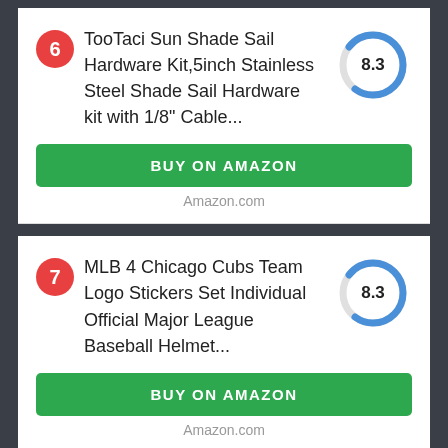6
TooTaci Sun Shade Sail Hardware Kit,5inch Stainless Steel Shade Sail Hardware kit with 1/8" Cable...
[Figure (donut-chart): Score]
BUY ON AMAZON
Amazon.com
7
MLB 4 Chicago Cubs Team Logo Stickers Set Individual Official Major League Baseball Helmet...
[Figure (donut-chart): Score]
BUY ON AMAZON
Amazon.com